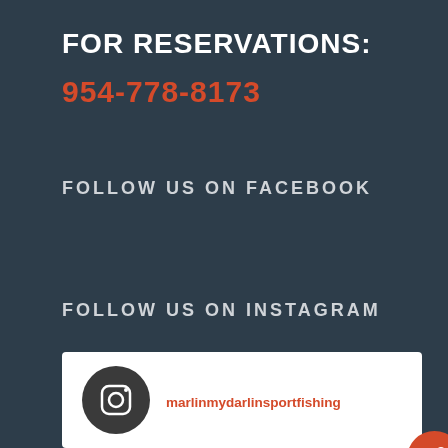FOR RESERVATIONS:
954-778-8173
FOLLOW US ON FACEBOOK
FOLLOW US ON INSTAGRAM
[Figure (infographic): Instagram card widget showing Instagram icon and username marlinmydarlinsportfishing, with a share button overlay.]